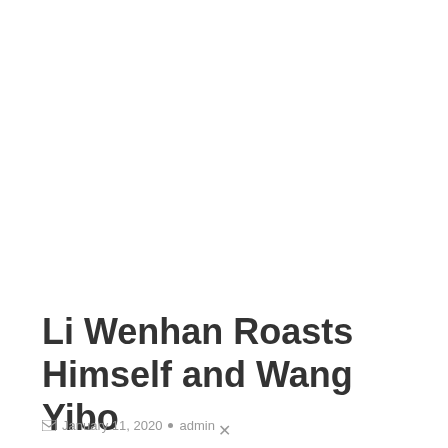Li Wenhan Roasts Himself and Wang Yibo
January 11, 2020 · admin